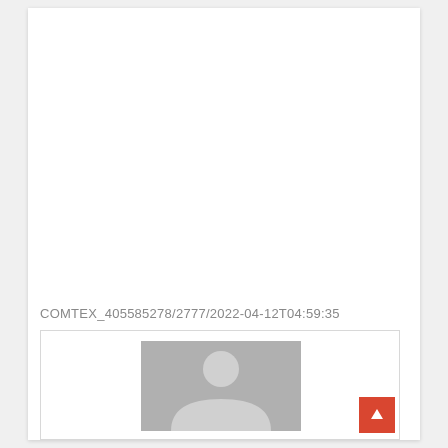COMTEX_405585278/2777/2022-04-12T04:59:35
[Figure (photo): Generic placeholder profile/avatar image showing a grey silhouette of a person on a grey background, inside a bordered box with a red scroll-to-top button in the bottom right corner.]